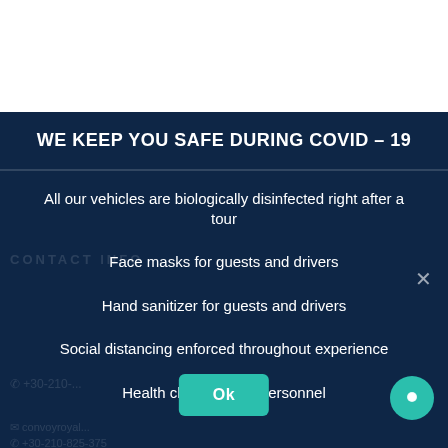WE KEEP YOU SAFE DURING COVID – 19
All our vehicles are biologically disinfected right after a tour
Face masks for guests and drivers
Hand sanitizer for guests and drivers
Social distancing enforced throughout experience
Health check on our personnel